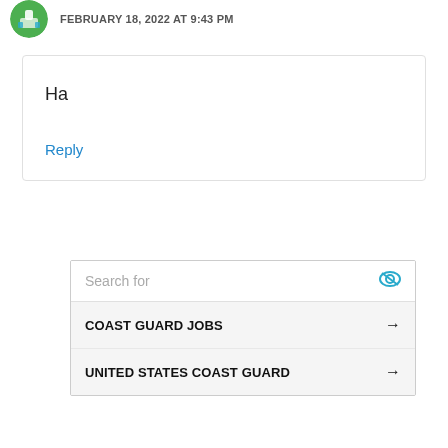FEBRUARY 18, 2022 AT 9:43 PM
Ha
Reply
[Figure (screenshot): Search widget with 'Search for' placeholder, eye icon, and two search result rows: 'COAST GUARD JOBS' and 'UNITED STATES COAST GUARD', each with an arrow.]